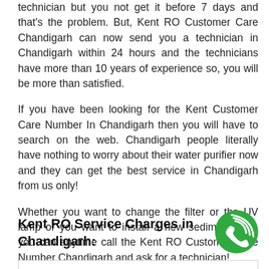technician but you not get it before 7 days and that's the problem. But, Kent RO Customer Care Chandigarh can now send you a technician in Chandigarh within 24 hours and the technicians have more than 10 years of experience so, you will be more than satisfied.
If you have been looking for the Kent Customer Care Number In Chandigarh then you will have to search on the web. Chandigarh people literally have nothing to worry about their water purifier now and they can get the best service in Chandigarh from us only!
Whether you want to change the filter or the UV lamp or you want to install a new sediment filter, you can anytime call the Kent RO Customer Care Number Chandigarh and ask for a technician!
Kent RO Service Charges in Chandigarh:
[Figure (other): Green circular phone/call icon with signal waves]